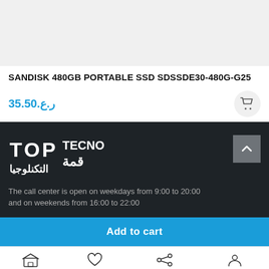[Figure (photo): Light grey product image placeholder area]
SANDISK 480GB PORTABLE SSD SDSSDE30-480G-G25
ر.ع.35.50
[Figure (logo): Top Tecno / قمة التكنولوجيا logo in white on dark background]
The call center is open on weekdays from 9:00 to 20:00 and on weekends from 16:00 to 22:00
Add to cart
Shop   Wishlist   Compare   Account